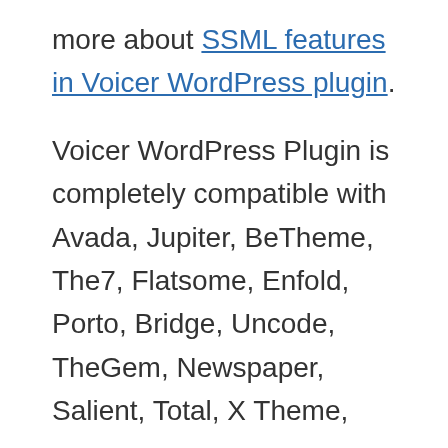more about SSML features in Voicer WordPress plugin.
Voicer WordPress Plugin is completely compatible with Avada, Jupiter, BeTheme, The7, Flatsome, Enfold, Porto, Bridge, Uncode, TheGem, Newspaper, Salient, Total, X Theme,
Highlight a few words in the Title or Paragraphs to see how awesome is Voicer!
Homes, Electro, Kallyas, JNews,